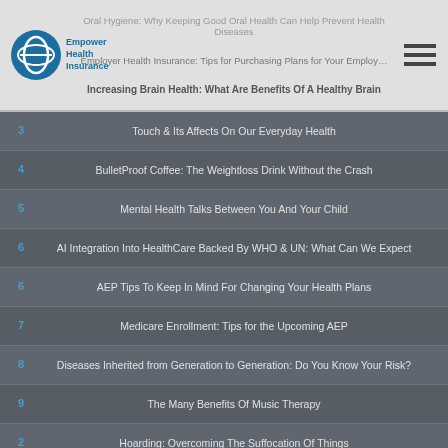Empower Health Insurance | Oral Hygiene: Why Keeping Good Oral Health Can Help Prevent Health Diseases | Employer Health Insurance: Tips for Purchasing Plans for Your Employees | Increasing Brain Health: What Are Benefits Of A Healthy Brain
3 Touch & Its Affects On Our Everyday Health
4 BulletProof Coffee: The Weightloss Drink Without the Crash
5 Mental Health Talks Between You And Your Child
6 AI Integration Into HealthCare Backed By WHO & UN: What Can We Expect
6 AEP Tips To Keep In Mind For Changing Your Health Plans
7 Medicare Enrollment: Tips for the Upcoming AEP
8 Diseases Inherited from Generation to Generation: Do You Know Your Risk?
9 The Many Benefits Of Music Therapy
2 Hoarding: Overcoming The Suffocation Of Things
6 Can Improving Heart Health Help Lower Risk Of Memory Loss?
3 15 Things Your Body Might Be Telling You About Your Health Condition
4 Walmart Wants to Become Your Neighborhood Healthcare Provider
5 Amazon Makes Plans to Create Health Insurance Comparison Business
9 Hurricane Florence Helpful Tips And Reminders For Storm Impact
2 Avocados: Health Benefits, Recipes, and More for Your Favorite Side Dish
Loneliness: The Rising Problem in America's Population